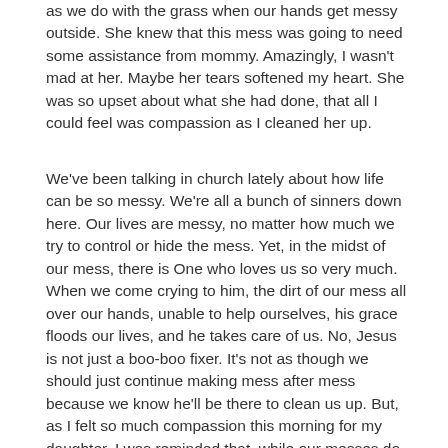as we do with the grass when our hands get messy outside. She knew that this mess was going to need some assistance from mommy. Amazingly, I wasn't mad at her. Maybe her tears softened my heart. She was so upset about what she had done, that all I could feel was compassion as I cleaned her up.
We've been talking in church lately about how life can be so messy. We're all a bunch of sinners down here. Our lives are messy, no matter how much we try to control or hide the mess. Yet, in the midst of our mess, there is One who loves us so very much. When we come crying to him, the dirt of our mess all over our hands, unable to help ourselves, his grace floods our lives, and he takes care of us. No, Jesus is not just a boo-boo fixer. It's not as though we should just continue making mess after mess because we know he'll be there to clean us up. But, as I felt so much compassion this morning for my daughter, I was reminded that, while our messes do have consequences, God is not angry with us when we come to him in a mess. He's not thundering down at us. When we come crying to him, he opens his arms with a love and compassion that are deep and genuine. He knows that we make messes, and he's not inconvenienced when we come to him. Rather, he made a way, he sent his son Jesus to cover that mess. No amount of my own trying can ever get rid of my mess, but Jesus' blood, it can cover any mess. He is